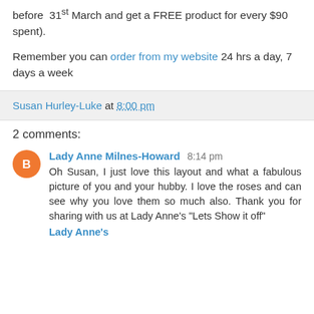before 31st March and get a FREE product for every $90 spent).
Remember you can order from my website 24 hrs a day, 7 days a week
Susan Hurley-Luke at 8:00 pm
2 comments:
Lady Anne Milnes-Howard 8:14 pm
Oh Susan, I just love this layout and what a fabulous picture of you and your hubby. I love the roses and can see why you love them so much also. Thank you for sharing with us at Lady Anne's "Lets Show it off"
Lady Anne's